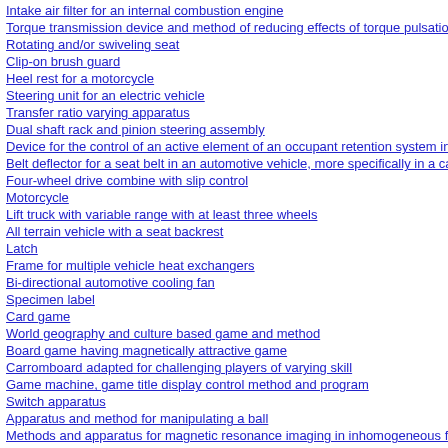Intake air filter for an internal combustion engine
Torque transmission device and method of reducing effects of torque pulsations
Rotating and/or swiveling seat
Clip-on brush guard
Heel rest for a motorcycle
Steering unit for an electric vehicle
Transfer ratio varying apparatus
Dual shaft rack and pinion steering assembly
Device for the control of an active element of an occupant retention system in a ve...
Belt deflector for a seat belt in an automotive vehicle, more specifically in a cabrio...
Four-wheel drive combine with slip control
Motorcycle
Lift truck with variable range with at least three wheels
All terrain vehicle with a seat backrest
Latch
Frame for multiple vehicle heat exchangers
Bi-directional automotive cooling fan
Specimen label
Card game
World geography and culture based game and method
Board game having magnetically attractive game
Carromboard adapted for challenging players of varying skill
Game machine, game title display control method and program
Switch apparatus
Apparatus and method for manipulating a ball
Methods and apparatus for magnetic resonance imaging in inhomogeneous fields
Under-sampled 3D MRI using a shells k-space sampling trajectory
WIRELESS RF COIL POWER SUPPLY
Phased array coils utilizing selectable quadrature combination
AZIMUTHALLY-ORIENTING NMR SAMPLES
Multiple oxidation smoothing method for reducing silicon waveguide roughness
Integrated photonic circuits with vertical connections
Semiconductor memory devices and methods of fabricating semiconductor memo...
Decoupling capacitor for an integrated circuit and method of manufacturing thereof
Wiring board, stacked wiring board and method of manufacturing the same, semico...
Semiconductor device and production process
Mounting structure of electronic component, electro-optic device, electronic equipm...
Semiconductor package structure